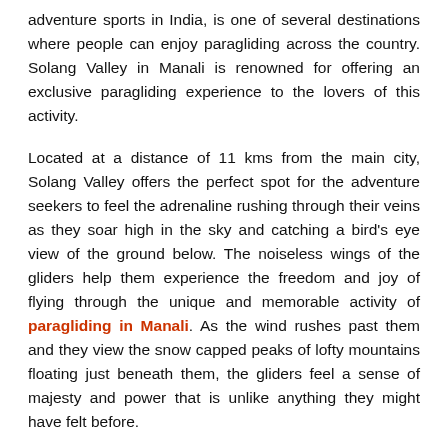adventure sports in India, is one of several destinations where people can enjoy paragliding across the country. Solang Valley in Manali is renowned for offering an exclusive paragliding experience to the lovers of this activity.
Located at a distance of 11 kms from the main city, Solang Valley offers the perfect spot for the adventure seekers to feel the adrenaline rushing through their veins as they soar high in the sky and catching a bird's eye view of the ground below. The noiseless wings of the gliders help them experience the freedom and joy of flying through the unique and memorable activity of paragliding in Manali. As the wind rushes past them and they view the snow capped peaks of lofty mountains floating just beneath them, the gliders feel a sense of majesty and power that is unlike anything they might have felt before.
Given the growing popularity of paragliding activity amongst visitors coming to Manali, it is not surprising to find numerous tour operators offering this service in the region. However, in